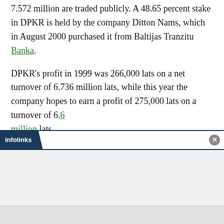7.572 million are traded publicly. A 48.65 percent stake in DPKR is held by the company Ditton Nams, which in August 2000 purchased it from Baltijas Tranzitu Banka.
DPKR's profit in 1999 was 266,000 lats on a net turnover of 6.736 million lats, while this year the company hopes to earn a profit of 275,000 lats on a turnover of 6.6 million lats.
DPKR's shares are quoted on the second list of the Riga Stock Exchange. Its share capital is 7.4 million lats.